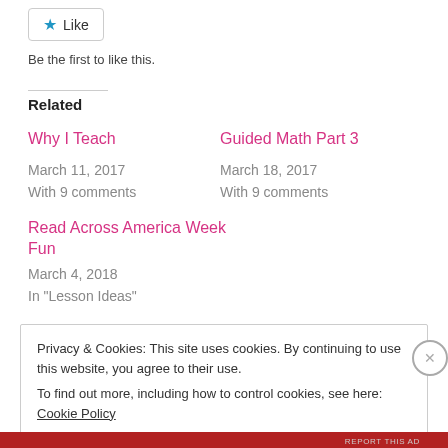Like
Be the first to like this.
Related
Why I Teach
March 11, 2017
With 9 comments
Guided Math Part 3
March 18, 2017
With 9 comments
Read Across America Week Fun
March 4, 2018
In "Lesson Ideas"
Privacy & Cookies: This site uses cookies. By continuing to use this website, you agree to their use.
To find out more, including how to control cookies, see here: Cookie Policy
Close and accept